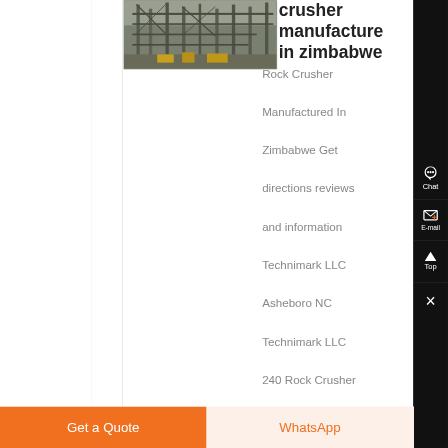[Figure (photo): Industrial steel structure / crusher manufacturing facility photograph]
crusher manufacturers in zimbabwe
Rock Crusher Manufactured In Zimbabwe Get directions reviews and information Technimark LLC Asheboro NC Technimark LLC 240 Rock Crusher Rd Asheboro NC 27203 Reviews 336 6262552 Website Menu
Get a Quote
WhatsApp